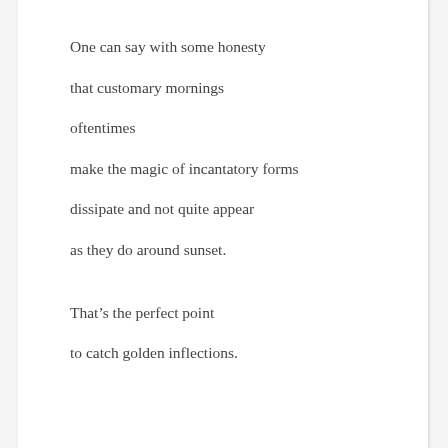One can say with some honesty

that customary mornings

oftentimes

make the magic of incantatory forms

dissipate and not quite appear

as they do around sunset.


That's the perfect point

to catch golden inflections.